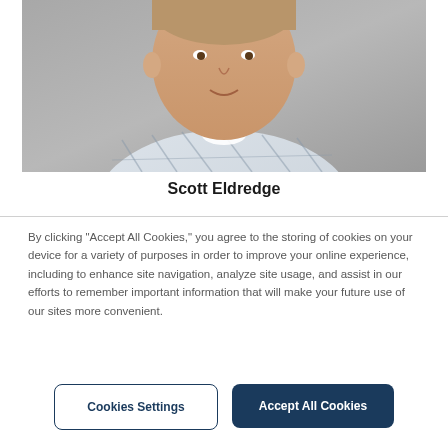[Figure (photo): Headshot of a man in a plaid shirt, cropped to show face and upper chest, light gray background]
Scott Eldredge
By clicking “Accept All Cookies,” you agree to the storing of cookies on your device for a variety of purposes in order to improve your online experience, including to enhance site navigation, analyze site usage, and assist in our efforts to remember important information that will make your future use of our sites more convenient.
Cookies Settings
Accept All Cookies